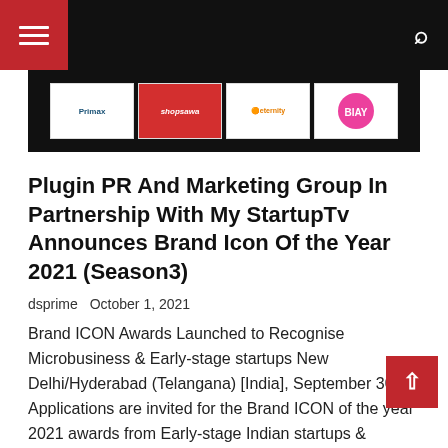Navigation bar with hamburger menu and search icon
[Figure (photo): Black banner with sponsor logos including Primax, Shopsawa, Eternity, and one more logo]
Plugin PR And Marketing Group In Partnership With My StartupTv Announces Brand Icon Of the Year 2021 (Season3)
dsprime   October 1, 2021
Brand ICON Awards Launched to Recognise Microbusiness & Early-stage startups New Delhi/Hyderabad (Telangana) [India], September 30: Applications are invited for the Brand ICON of the year 2021 awards from Early-stage Indian startups & MSMEs that…
Read More